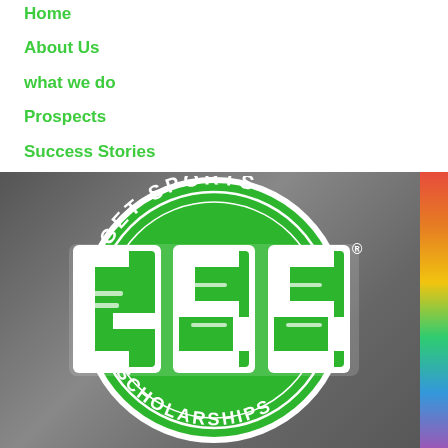Home
About Us
what we do
Prospects
Success Stories
contact us
[Figure (logo): GSS Get Sports Scholarships circular logo with large GSS letters in green and white on a blurred stadium background]